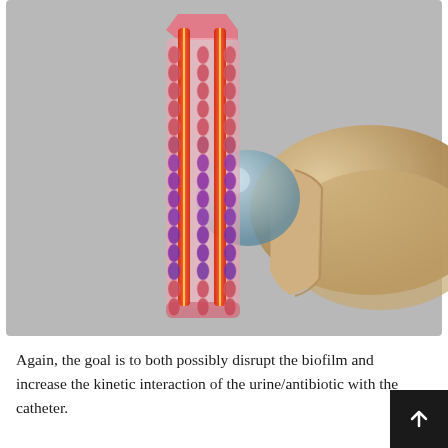[Figure (illustration): 3D medical illustration showing a catheter or medical device with a transparent cross-section revealing internal tubular structure with two parallel red/orange channels running lengthwise and rows of small oval/circular elements (possibly representing drug delivery ports or microstructures). The device is shown partially inserted into a beige anatomical structure (possibly a body cavity or tissue). A blue spherical element is visible at the insertion point. Background is light grey.]
Again, the goal is to both possibly disrupt the biofilm and increase the kinetic interaction of the urine/antibiotic with the catheter.